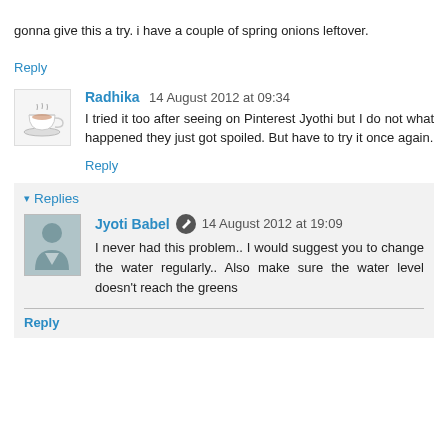gonna give this a try. i have a couple of spring onions leftover.
Reply
Radhika 14 August 2012 at 09:34
I tried it too after seeing on Pinterest Jyothi but I do not what happened they just got spoiled. But have to try it once again.
Reply
Replies
Jyoti Babel 14 August 2012 at 19:09
I never had this problem.. I would suggest you to change the water regularly.. Also make sure the water level doesn't reach the greens
Reply